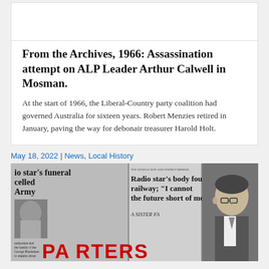From the Archives, 1966: Assassination attempt on ALP Leader Arthur Calwell in Mosman.
At the start of 1966, the Liberal-Country party coalition had governed Australia for sixteen years. Robert Menzies retired in January, paving the way for debonair treasurer Harold Holt.
May 18, 2022 | News, Local History
[Figure (photo): Collage of vintage newspaper front pages with headlines including 'Radio star's funeral cancelled Army', 'Radio star's body found railway; I cannot face the future short of mo...', 'A SISTER FARTED' in red letters, alongside a black-and-white portrait photo of a man in a suit and glasses.]